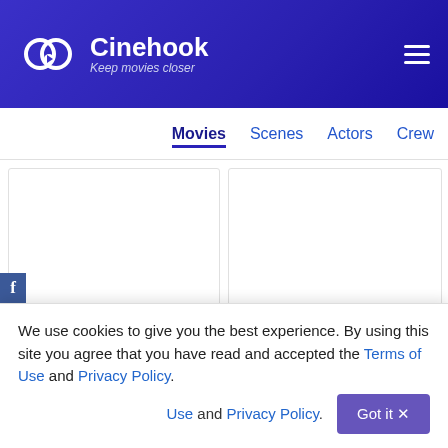Cinehook — Keep movies closer
Movies (active nav item)
Scenes
Actors
Crew
[Figure (screenshot): Two blank movie card placeholders (top row)]
The Tree of Life 2011
Gabriel 2007
[Figure (photo): The Tree of Life movie thumbnail - moody sky scene]
[Figure (photo): Gabriel movie thumbnail - golden figure with raised arms]
We use cookies to give you the best experience. By using this site you agree that you have read and accepted the Terms of Use and Privacy Policy.